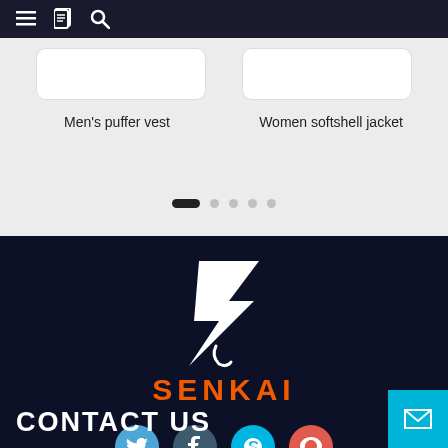≡ 🔖 🔍
Men's puffer vest
Women softshell jacket
[Figure (logo): Senkai brand logo with white stylized S letter mark and orange SENKAI wordmark on dark navy background]
[Figure (infographic): Social media icons: Twitter (blue), Tumblr (dark blue-grey), Skype (cyan), Google+ (red-coral)]
CONTACT US